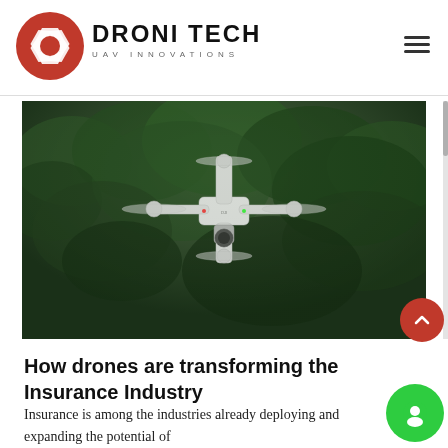DRONI TECH — UAV INNOVATIONS
[Figure (photo): A white quadcopter drone with camera flying over a dense green forest canopy, photographed from below/side angle.]
How drones are transforming the Insurance Industry
Insurance is among the industries already deploying and expanding the potential of